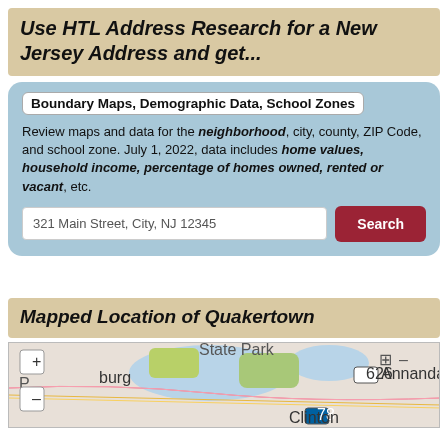Use HTL Address Research for a New Jersey Address and get...
Boundary Maps, Demographic Data, School Zones
Review maps and data for the neighborhood, city, county, ZIP Code, and school zone. July 1, 2022, data includes home values, household income, percentage of homes owned, rented or vacant, etc.
Mapped Location of Quakertown
[Figure (map): Map showing the location of Quakertown area in New Jersey, with zoom controls, showing surrounding areas including Annandale, Clinton, and State Park.]